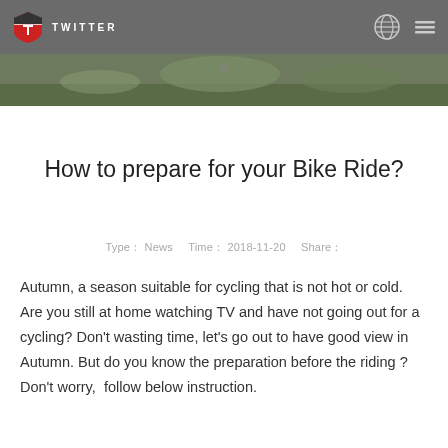Twitter Bike - How to prepare for your Bike Ride?
[Figure (photo): Hero banner image showing cycling/outdoor scene in muted green tones]
How to prepare for your Bike Ride?
Type： News   Time： 2018-11-20   Share：
Autumn, a season suitable for cycling that is not hot or cold. Are you still at home watching TV and have not going out for a cycling? Don't wasting time, let's go out to have good view in Autumn. But do you know the preparation before the riding ? Don't worry,  follow below instruction.